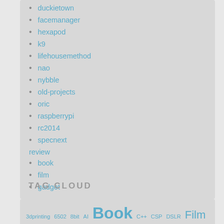duckietown
facemanager
hexapod
k9
lifehousemethod
nao
nybble
old-projects
oric
raspberrypi
rc2014
specnext
review
book
film
gadget
TAG CLOUD
3dprinting 6502 8bit AI Book C++ CSP DSLR Film Gadget